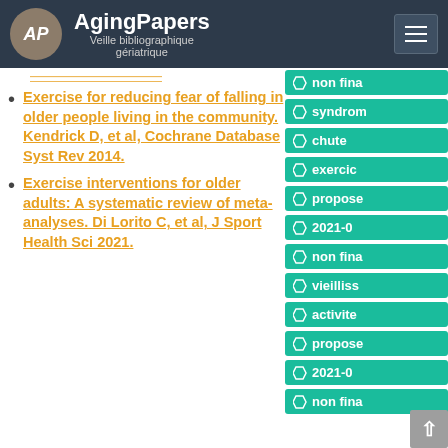AgingPapers — Veille bibliographique gériatrique
Exercise for reducing fear of falling in older people living in the community. Kendrick D, et al, Cochrane Database Syst Rev 2014.
Exercise interventions for older adults: A systematic review of meta-analyses. Di Lorito C, et al, J Sport Health Sci 2021.